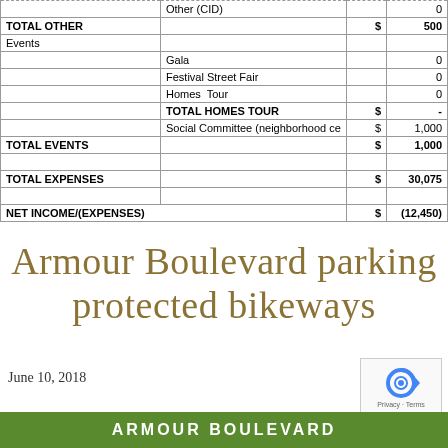|  |  | $ |  |
| --- | --- | --- | --- |
|  | Other (CID) |  | 0 |
| TOTAL OTHER |  | $ | 500 |
| Events |  |  |  |
|  | Gala |  | 0 |
|  | Festival Street Fair |  | 0 |
|  | Homes  Tour |  | 0 |
|  | TOTAL HOMES TOUR | $ | - |
|  | Social Committee (neighborhood ce… | $ | 1,000 |
| TOTAL EVENTS |  | $ | 1,000 |
|  |  |  |  |
| TOTAL EXPENSES |  | $ | 30,075 |
|  |  |  |  |
| NET INCOME/(EXPENSES) |  | $ | (12,450) |
Armour Boulevard parking protected bikeways
June 10, 2018
ARMOUR BOULEVARD